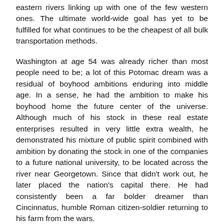eastern rivers linking up with one of the few western ones. The ultimate world-wide goal has yet to be fulfilled for what continues to be the cheapest of all bulk transportation methods.
Washington at age 54 was already richer than most people need to be; a lot of this Potomac dream was a residual of boyhood ambitions enduring into middle age. In a sense, he had the ambition to make his boyhood home the future center of the universe. Although much of his stock in these real estate enterprises resulted in very little extra wealth, he demonstrated his mixture of public spirit combined with ambition by donating the stock in one of the companies to a future national university, to be located across the river near Georgetown. Since that didn't work out, he later placed the nation's capital there. He had consistently been a far bolder dreamer than Cincinnatus, humble Roman citizen-soldier returning to his farm from the wars.